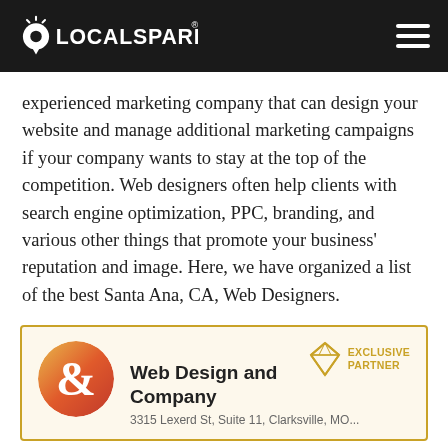LOCALSPARK®
experienced marketing company that can design your website and manage additional marketing campaigns if your company wants to stay at the top of the competition. Web designers often help clients with search engine optimization, PPC, branding, and various other things that promote your business' reputation and image. Here, we have organized a list of the best Santa Ana, CA, Web Designers.
Web Design and Company
EXCLUSIVE PARTNER